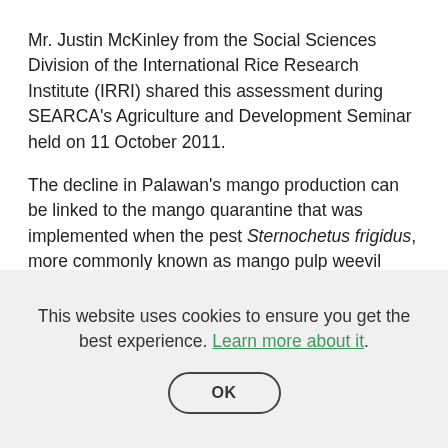Mr. Justin McKinley from the Social Sciences Division of the International Rice Research Institute (IRRI) shared this assessment during SEARCA's Agriculture and Development Seminar held on 11 October 2011.
The decline in Palawan's mango production can be linked to the mango quarantine that was implemented when the pest Sternochetus frigidus, more commonly known as mango pulp weevil (MPW), was detected in the province. MPWs are pests that feed on mango fruit flesh. This makes them difficult to detect since the damages they cause to mangoes cannot be seen from the outside. It was believed
This website uses cookies to ensure you get the best experience. Learn more about it.